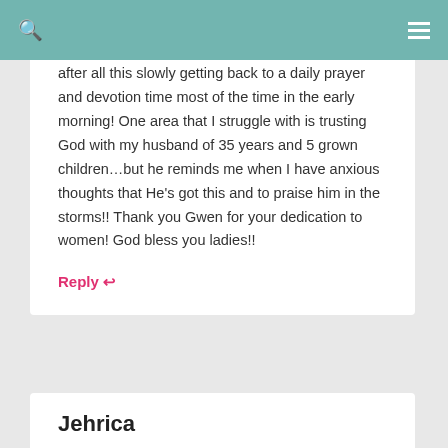Search / Menu
after all this slowly getting back to a daily prayer and devotion time most of the time in the early morning! One area that I struggle with is trusting God with my husband of 35 years and 5 grown children…but he reminds me when I have anxious thoughts that He's got this and to praise him in the storms!! Thank you Gwen for your dedication to women! God bless you ladies!!
Reply ↩
Jehrica